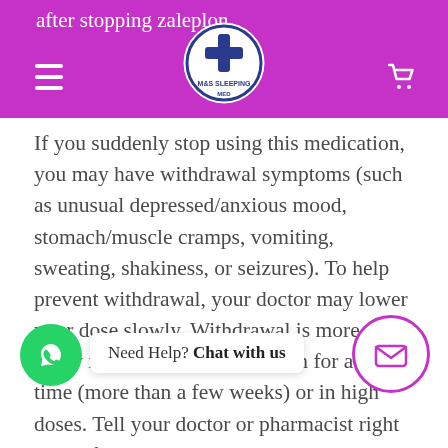after stopping zaleplon. [logo: M&S SLEEPING MED]
If you suddenly stop using this medication, you may have withdrawal symptoms (such as unusual depressed/anxious mood, stomach/muscle cramps, vomiting, sweating, shakiness, or seizures). To help prevent withdrawal, your doctor may lower your dose slowly. Withdrawal is more likely if you have used zaleplon for a long time (more than a few weeks) or in high doses. Tell your doctor or pharmacist right away if you have withdrawal.
Though it helps many people, this medication may sometimes cause addiction. This risk may be higher if you have a substance use disorder (such as overuse or addiction to/of alcohol/drugs). Do not increase your dose, take it more often, or use it for a longer time than prescribed. Properly stop the medication when